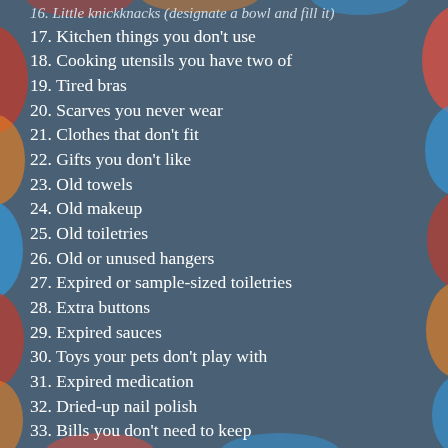16. Little knickknacks (designate a bowl and fill it)
17. Kitchen things you don't use
18. Cooking utensils you have two of
19. Tired bras
20. Scarves you never wear
21. Clothes that don't fit
22. Gifts you don't like
23. Old towels
24. Old makeup
25. Old toiletries
26. Old or unused hangers
27. Expired or sample-sized toiletries
28. Extra buttons
29. Expired sauces
30. Toys your pets don't play with
31. Expired medication
32. Dried-up nail polish
33. Bills you don't need to keep
34. Expired coupons
35. (partially visible)